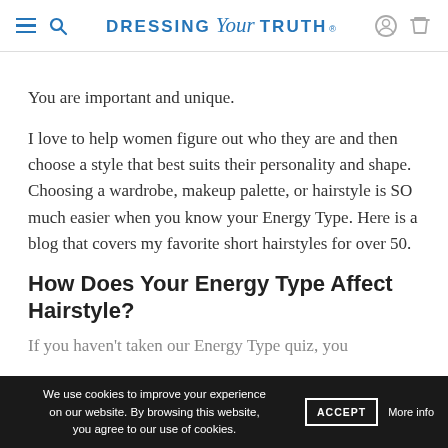DRESSING Your TRUTH®
You are important and unique.
I love to help women figure out who they are and then choose a style that best suits their personality and shape. Choosing a wardrobe, makeup palette, or hairstyle is SO much easier when you know your Energy Type. Here is a blog that covers my favorite short hairstyles for over 50.
How Does Your Energy Type Affect Hairstyle?
If you haven't taken our Energy Type quiz, you
We use cookies to improve your experience on our website. By browsing this website, you agree to our use of cookies.